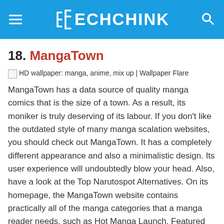TECHCHINK
18. MangaTown
[Figure (photo): Broken/placeholder image with caption: HD wallpaper: manga, anime, mix up | Wallpaper Flare]
MangaTown has a data source of quality manga comics that is the size of a town. As a result, its moniker is truly deserving of its labour. If you dont like the outdated style of many manga scalation websites, you should check out MangaTown. It has a completely different appearance and also a minimalistic design. Its user experience will undoubtedly blow your head. Also, have a look at the Top Narutospot Alternatives. On its homepage, the MangaTown website contains practically all of the manga categories that a manga reader needs, such as Hot Manga Launch, Featured Manga Release, New Manga Launch, and